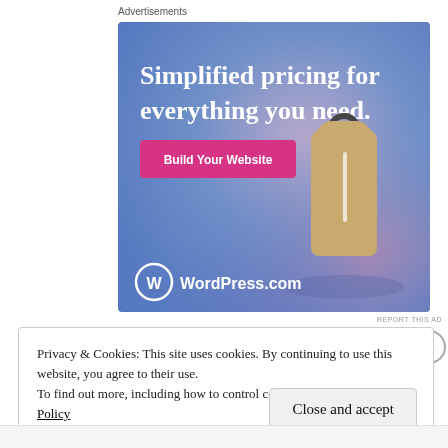Advertisements
[Figure (illustration): WordPress.com advertisement banner with gradient blue-purple background, showing a price tag graphic and text 'Simplified pricing for everything you need.' with a pink 'Build Your Website' button and WordPress.com logo at bottom left.]
REPORT THIS AD
Privacy & Cookies: This site uses cookies. By continuing to use this website, you agree to their use.
To find out more, including how to control cookies, see here: Cookie Policy
Close and accept